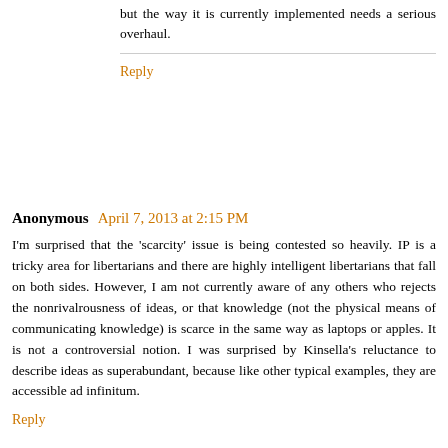but the way it is currently implemented needs a serious overhaul.
Reply
Anonymous April 7, 2013 at 2:15 PM
I'm surprised that the 'scarcity' issue is being contested so heavily. IP is a tricky area for libertarians and there are highly intelligent libertarians that fall on both sides. However, I am not currently aware of any others who rejects the nonrivalrousness of ideas, or that knowledge (not the physical means of communicating knowledge) is scarce in the same way as laptops or apples. It is not a controversial notion. I was surprised by Kinsella's reluctance to describe ideas as superabundant, because like other typical examples, they are accessible ad infinitum.
Reply